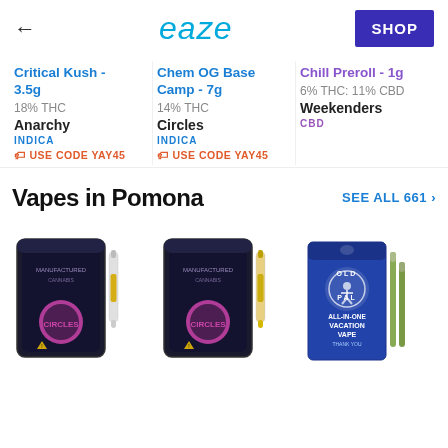eaze  SHOP
Critical Kush - 3.5g
18% THC
Anarchy
INDICA
USE CODE YAY45
Chem OG Base Camp - 7g
14% THC
Circles
INDICA
USE CODE YAY45
Chill Preroll - 1g
6% THC: 11% CBD
Weekenbers
CBD
Vapes in Pomona
SEE ALL 661 ›
[Figure (photo): Circles cannabis vape product bag (black with purple circle, white cartridge visible beside it)]
[Figure (photo): Circles cannabis vape product bag (black with purple circle, yellow cartridge visible beside it)]
[Figure (photo): Old Pal Vacation Vape blue package with two green pre-rolls beside it]